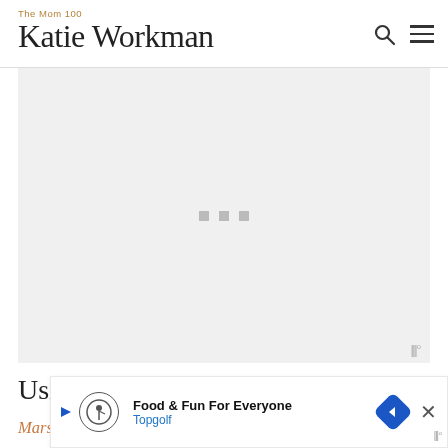The Mom 100 Katie Workman
[Figure (other): Advertisement placeholder / loading image area with three small grey squares and a Mediavine logo watermark in the bottom right]
Using Marsala in Cooking
Marsala is a slightly sweet fortified wine that keeps for a long time, so don't worry if you... might
[Figure (other): Topgolf 'Food & Fun For Everyone' advertisement banner overlay at the bottom of the page with navigation arrow icon, close X button, and Mediavine logo]